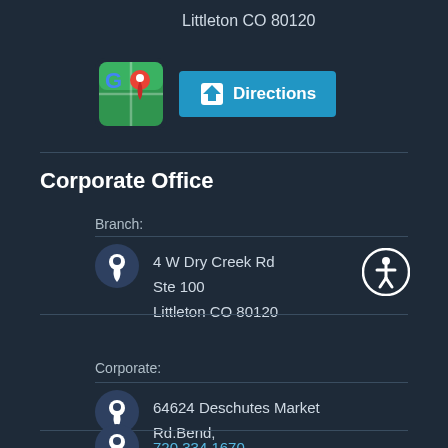Littleton CO 80120
[Figure (screenshot): Google Maps icon and a blue Directions button with a turn-arrow symbol]
Corporate Office
Branch:
4 W Dry Creek Rd
Ste 100
Littleton CO 80120
Corporate:
64624 Deschutes Market
Rd.Bend,
OR 97701